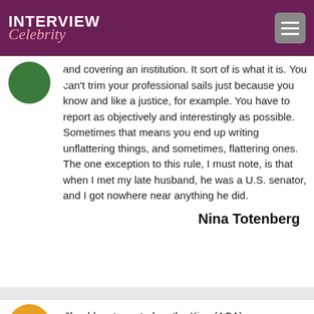INTERVIEW Celebrity
and covering an institution. It sort of is what it is. You can't trim your professional sails just because you know and like a justice, for example. You have to report as objectively and interestingly as possible. Sometimes that means you end up writing unflattering things, and sometimes, flattering ones. The one exception to this rule, I must note, is that when I met my late husband, he was a U.S. senator, and I got nowhere near anything he did.
Nina Totenberg
Should cert granted on the King (ACA) case scare proponents of the law? A purely textualist reading of the statute leads me to believe the government wins, but the cert grant has me wondering if textualism can be reduced to one